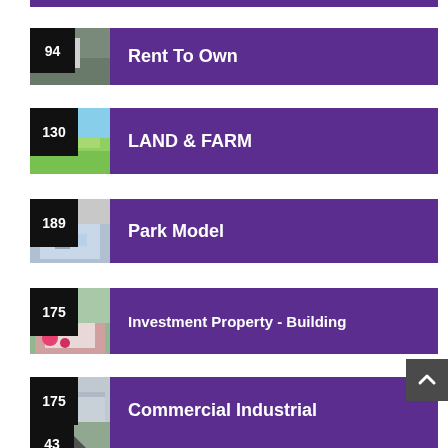[Figure (infographic): Category card: number 94, Rent To Own, purple banner with photo]
[Figure (infographic): Category card: number 130, LAND & FARM, purple banner with photo]
[Figure (infographic): Category card: number 189, Park Model, purple banner with photo]
[Figure (infographic): Category card: number 175, Investment Property - Building, purple banner with photo]
[Figure (infographic): Category card: number 175, Commercial Industrial, purple banner with photo]
[Figure (infographic): Category card: number 43, Real Estate Services, purple banner with photo (partial)]